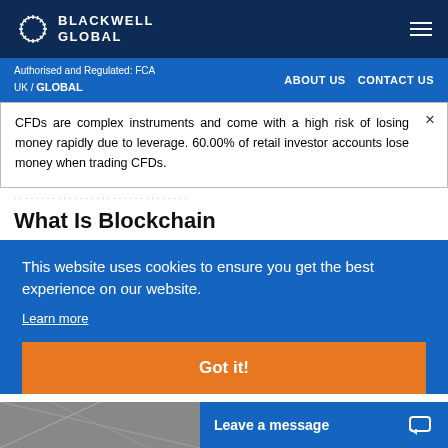BLACKWELL GLOBAL
Authorised and Regulated: FCA UK / GLOBAL
ABOUT US   CONTACT US
CFDs are complex instruments and come with a high risk of losing money rapidly due to leverage. 60.00% of retail investor accounts lose money when trading CFDs.
What Is Blockchain
This website uses cookies to ensure you get the best experience on our website.
Learn more
Got it!
Leave a message